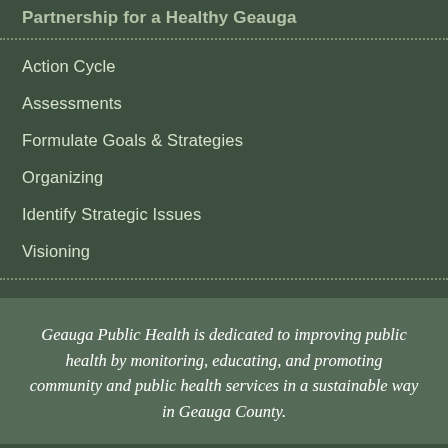Partnership for a Healthy Geauga
Action Cycle
Assessments
Formulate Goals & Strategies
Organizing
Identify Strategic Issues
Visioning
Geauga Public Health is dedicated to improving public health by monitoring, educating, and promoting community and public health services in a sustainable way in Geauga County.
Geauga Public Health